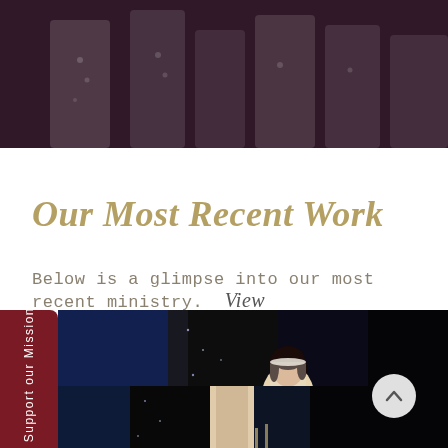[Figure (photo): Top banner photo showing people in formal/costume attire, dark purple-toned background, partial figures visible from waist down]
Our Most Recent Work
Below is a glimpse into our most recent ministry.  View
[Figure (other): Sidebar button with vertical text '>> Support our Mission' on dark red/maroon background]
[Figure (photo): Theater/dance performance photo: a woman in bride/veil costume holding a white cloth, with sparkly black fabric backdrop and blue stage lighting]